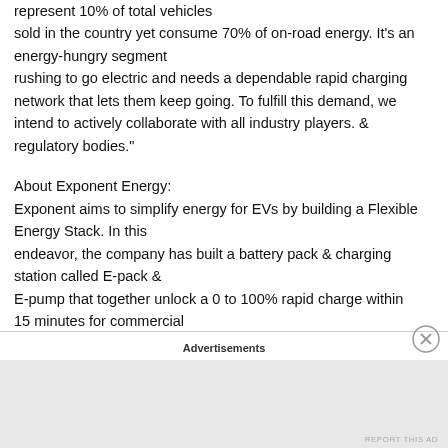represent 10% of total vehicles sold in the country yet consume 70% of on-road energy. It's an energy-hungry segment rushing to go electric and needs a dependable rapid charging network that lets them keep going. To fulfill this demand, we intend to actively collaborate with all industry players. & regulatory bodies."
About Exponent Energy:
Exponent aims to simplify energy for EVs by building a Flexible Energy Stack. In this endeavor, the company has built a battery pack & charging station called E-pack & E-pump that together unlock a 0 to 100% rapid charge within 15 minutes for commercial
Advertisements